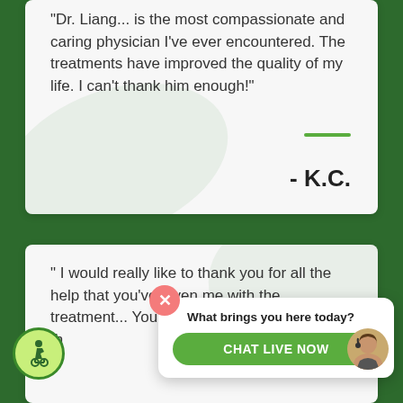"Dr. Liang... is the most compassionate and caring physician I've ever encountered. The treatments have improved the quality of my life. I can't thank him enough!"
- K.C.
" I would really like to thank you for all the help that you've given me with the treatment... You one thing that decades, and th
[Figure (screenshot): Chat widget overlay with pink close button (X), bold text 'What brings you here today?', and a green 'CHAT LIVE NOW' button with a customer service agent avatar on the right]
[Figure (illustration): Accessibility icon: green circle with wheelchair user symbol]